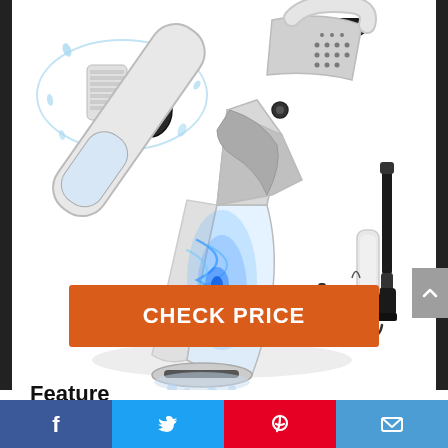[Figure (photo): Product photo of a handheld cordless vacuum cleaner (white/silver) shown diagonally with blue light effect inside transparent dust chamber, plus accessories (brush, charger, filters, extension nozzle) and a separate inset showing washable HEPA filters with water splash.]
CHECK PRICE
Feature